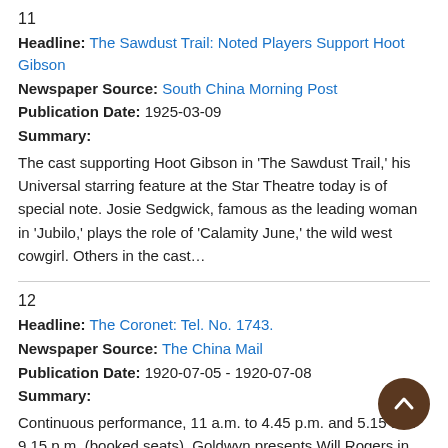11
Headline: The Sawdust Trail: Noted Players Support Hoot Gibson
Newspaper Source: South China Morning Post
Publication Date: 1925-03-09
Summary:
The cast supporting Hoot Gibson in 'The Sawdust Trail,' his Universal starring feature at the Star Theatre today is of special note. Josie Sedgwick, famous as the leading woman in 'Jubilo,' plays the role of 'Calamity June,' the wild west cowgirl. Others in the cast…
12
Headline: The Coronet: Tel. No. 1743.
Newspaper Source: The China Mail
Publication Date: 1920-07-05 - 1920-07-08
Summary:
Continuous performance, 11 a.m. to 4.45 p.m. and 5.15 and 9.15 p.m. (booked seats). Goldwyn presents Will Rogers in 'Jubilo,' 'The Silent Mystery' episode two, Young Mr. Jazz and British Gazette. July 5 Remarks: On page 5, another ad. on 'Jubilo' only. July 8